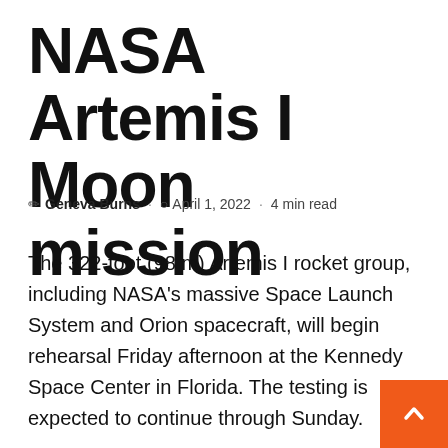NASA Artemis I Moon mission
✎ Geneva Burns · ⏱ April 1, 2022 · 4 min read
The 322-foot (98 m) Artemis I rocket group, including NASA's massive Space Launch System and Orion spacecraft, will begin rehearsal Friday afternoon at the Kennedy Space Center in Florida. The testing is expected to continue through Sunday.
The results will determine when the unmanned Artemis I will set out on a mission beyond the moon and back to Earth. This mission will launch NASA's Artemis program, which is expected to return humans to the